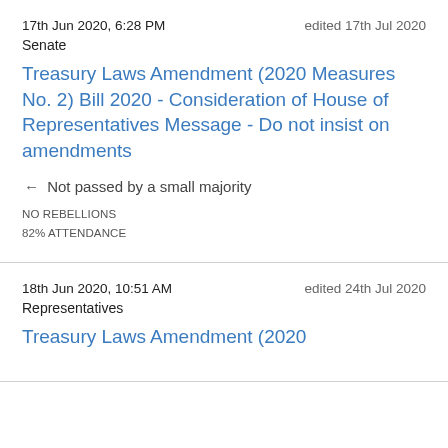17th Jun 2020, 6:28 PM · edited 17th Jul 2020
Senate
Treasury Laws Amendment (2020 Measures No. 2) Bill 2020 - Consideration of House of Representatives Message - Do not insist on amendments
← Not passed by a small majority
NO REBELLIONS
82% ATTENDANCE
18th Jun 2020, 10:51 AM · edited 24th Jul 2020
Representatives
Treasury Laws Amendment (2020